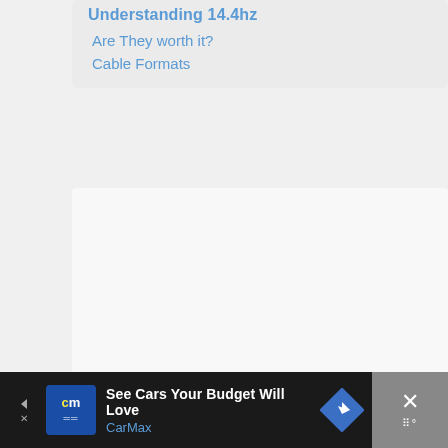Understanding 14.4hz
Are They worth it?
Cable Formats
[Figure (other): Empty white content panel/placeholder area]
See Cars Your Budget Will Love
CarMax